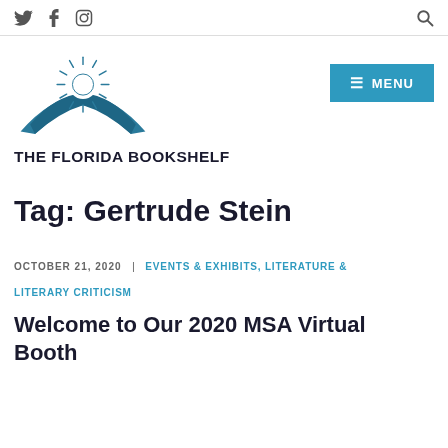Twitter | Facebook | Instagram | Search
[Figure (logo): The Florida Bookshelf logo — open book with sun rising above it in teal/dark blue colors]
THE FLORIDA BOOKSHELF
[Figure (other): MENU button in cyan/teal background]
Tag: Gertrude Stein
OCTOBER 21, 2020 | EVENTS & EXHIBITS, LITERATURE & LITERARY CRITICISM
Welcome to Our 2020 MSA Virtual Booth